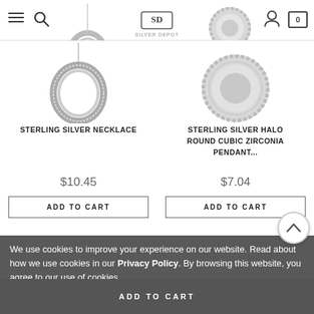[Figure (screenshot): E-commerce website header with hamburger menu, search icon, Silver Depot logo, user icon, and cart icon showing 0]
[Figure (photo): Sterling silver necklace product image - ring-shaped pendant on chain]
STERLING SILVER NECKLACE
$10.45
ADD TO CART
[Figure (photo): Sterling silver halo round cubic zirconia pendant product image]
STERLING SILVER HALO ROUND CUBIC ZIRCONIA PENDANT...
$7.04
ADD TO CART
We use cookies to improve your experience on our website. Read about how we use cookies in our Privacy Policy. By browsing this website, you agree to our use of cookies.
Accept Cookies
SilverDepot.com    customerservice@silverd...
ADD TO CART